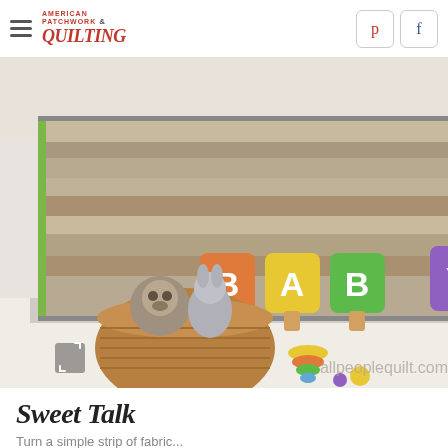American Patchwork & Quilting — Pinterest, Facebook
[Figure (photo): A baby quilt with BABY lettering and 'hello' text displayed over a white crib in a nursery setting with stuffed animals, baskets, and wooden toys on the floor. Watermark: allpeoplequilt.com]
Sweet Talk
Turn a simple strip of fabric...